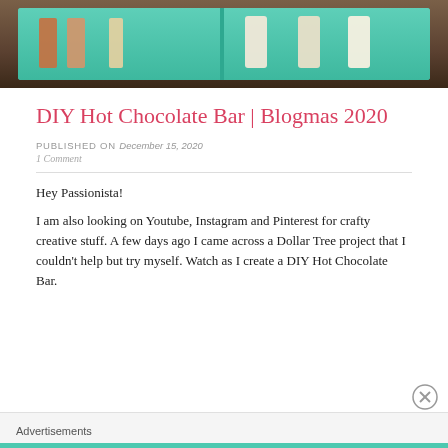[Figure (photo): Photo of a DIY hot chocolate bar in a teal/mint green wooden box with compartments, containing various hot chocolate items and mugs]
DIY Hot Chocolate Bar | Blogmas 2020
PUBLISHED ON December 15, 2020
1 Comment
Hey Passionista!
I am also looking on Youtube, Instagram and Pinterest for crafty creative stuff. A few days ago I came across a Dollar Tree project that I couldn't help but try myself. Watch as I create a DIY Hot Chocolate Bar.
Advertisements